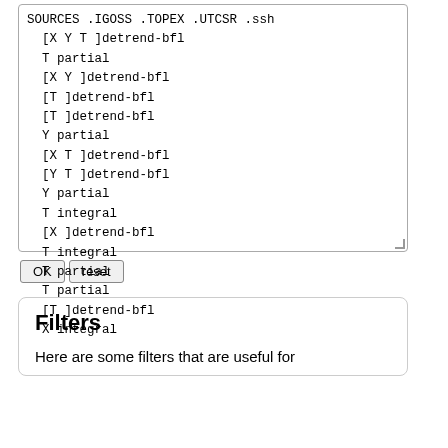SOURCES .IGOSS .TOPEX .UTCSR .ssh
  [X Y T ]detrend-bfl
  T partial
  [X Y ]detrend-bfl
  [T ]detrend-bfl
  [T ]detrend-bfl
  Y partial
  [X T ]detrend-bfl
  [Y T ]detrend-bfl
  Y partial
  T integral
  [X ]detrend-bfl
  T integral
  T partial
  T partial
  [T ]detrend-bfl
  X integral
OK   reset
Filters
Here are some filters that are useful for